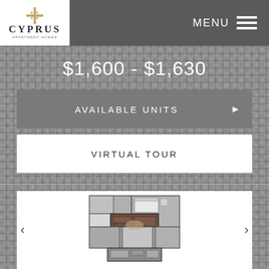[Figure (logo): Cyprus Apartment Homes logo with decorative cross/star symbol in gold and bold serif CYPRUS text]
MENU
$1,600 - $1,630
AVAILABLE UNITS
VIRTUAL TOUR
[Figure (engineering-diagram): 3D rendered apartment floor plan showing two bedrooms, bathrooms, living areas with brown and gray color scheme, top-down view]